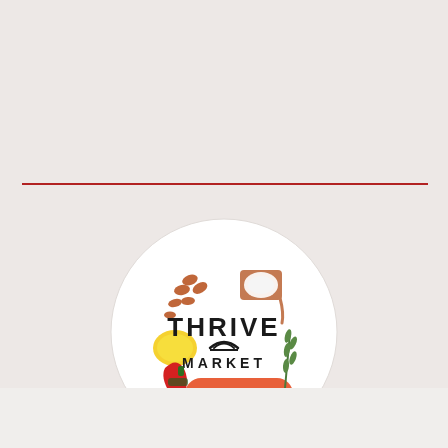[Figure (logo): Thrive Market circular logo with food items (almonds, salt dish, lemon, rosemary, red pepper, crackers) arranged around the text 'THRIVE MARKET' with an arch/rainbow symbol and an orange 'JOIN TODAY' button]
[Figure (photo): Bottom portion showing a light grey/green background, partially visible at the bottom of the page]